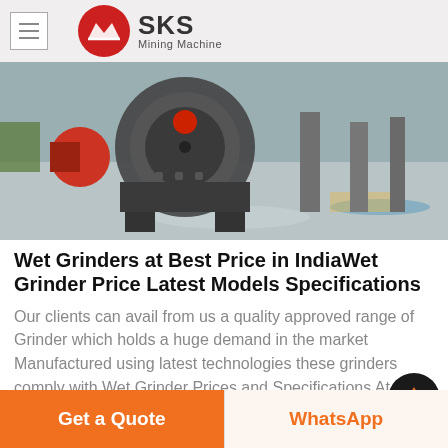[Figure (logo): SKS Mining Machine logo with red circular emblem and bold SKS text]
[Figure (photo): Industrial mining machinery on a factory floor with large grinding equipment]
Wet Grinders at Best Price in IndiaWet Grinder Price Latest Models Specifications
Our clients can avail from us a quality approved range of Grinder which holds a huge demand in the market Manufactured using latest technologies these grinders comply with Wet Grinder Prices and Specifications At Sulekha we have a large list of wet grinders to mee
[Figure (other): Scroll to top arrow button (dark circle with orange arrow)]
Get a Quote
WhatsApp